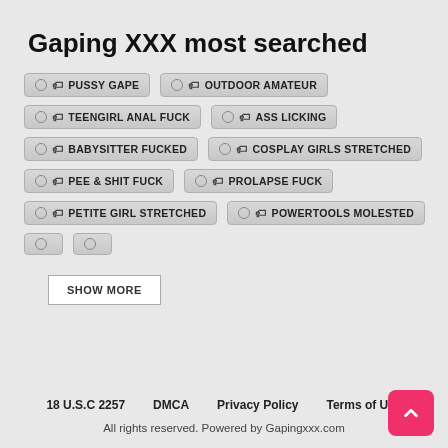Gaping XXX most searched
PUSSY GAPE
OUTDOOR AMATEUR
TEENGIRL ANAL FUCK
ASS LICKING
BABYSITTER FUCKED
COSPLAY GIRLS STRETCHED
PEE & SHIT FUCK
PROLAPSE FUCK
PETITE GIRL STRETCHED
POWERTOOLS MOLESTED
SHOW MORE
18 U.S.C 2257   DMCA   Privacy Policy   Terms of Use
All rights reserved. Powered by Gapingxxx.com